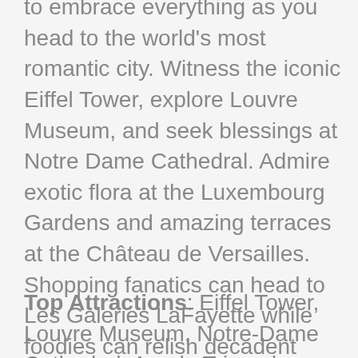to embrace everything as you head to the world's most romantic city. Witness the iconic Eiffel Tower, explore Louvre Museum, and seek blessings at Notre Dame Cathedral. Admire exotic flora at the Luxembourg Gardens and amazing terraces at the Château de Versailles. Shopping fanatics can head to Les Galeries LaFayette while foodies can relish decadent croissants alongside hearty espresso at a sidewalk cafe. Don't forget to cruise on the Seine and visit the white-domed Basilica of the Sacred Heart.
Top Attractions: Eiffel Tower, Louvre Museum, Notre-Dame Cathedral, Arc de Triomphe, Musée d'Orsay, Palais Garnier, Musée d'Orsay,